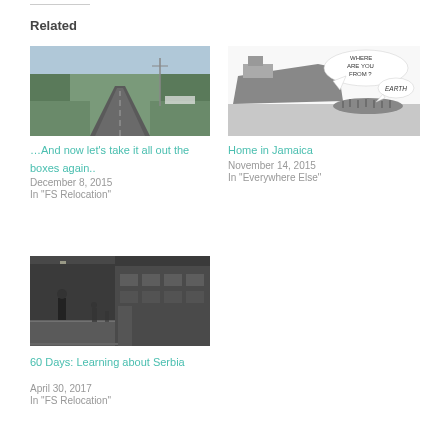Related
[Figure (photo): A country road with power lines and green hills in the background, photo taken from a car]
…And now let's take it all out the boxes again..
December 8, 2015
In "FS Relocation"
[Figure (illustration): Black and white cartoon/illustration of a large ship with speech bubbles saying 'WHERE ARE YOU FROM?' and 'EARTH', with people in a boat below]
Home in Jamaica
November 14, 2015
In "Everywhere Else"
[Figure (photo): Black and white photo of a person on a train platform next to a train]
60 Days: Learning about Serbia
April 30, 2017
In "FS Relocation"